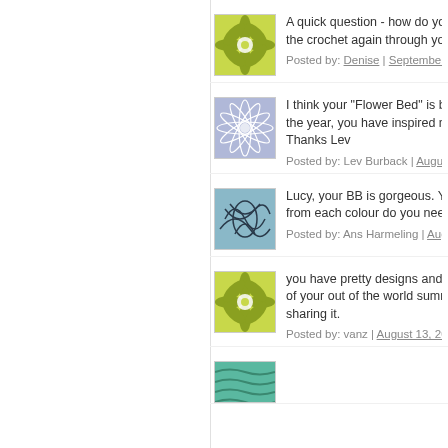[Figure (illustration): Green floral/star pattern avatar icon]
A quick question - how do you... the crochet again through you...
Posted by: Denise | September 02...
[Figure (illustration): Blue/purple geometric star pattern avatar icon]
I think your "Flower Bed" is be... the year, you have inspired me... Thanks Lev
Posted by: Lev Burback | August 23...
[Figure (illustration): Blue abstract swirls/lines pattern avatar icon]
Lucy, your BB is gorgeous. Yo... from each colour do you need...
Posted by: Ans Harmeling | August ...
[Figure (illustration): Green floral/star pattern avatar icon]
you have pretty designs and i... of your out of the world summ... sharing it.
Posted by: vanz | August 13, 2009 ...
[Figure (illustration): Teal/green wavy pattern avatar icon (partially visible)]